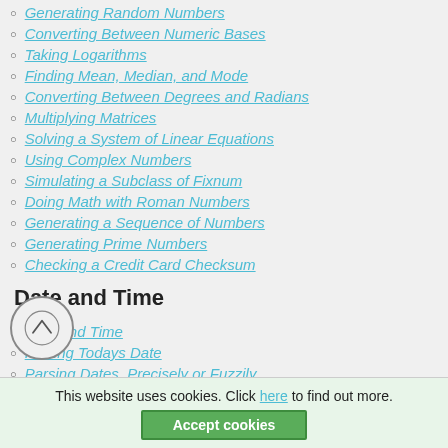Generating Random Numbers
Converting Between Numeric Bases
Taking Logarithms
Finding Mean, Median, and Mode
Converting Between Degrees and Radians
Multiplying Matrices
Solving a System of Linear Equations
Using Complex Numbers
Simulating a Subclass of Fixnum
Doing Math with Roman Numbers
Generating a Sequence of Numbers
Generating Prime Numbers
Checking a Credit Card Checksum
Date and Time
Date and Time
Finding Todays Date
Parsing Dates, Precisely or Fuzzily
Printing a Date
Iterating Over Dates
This website uses cookies. Click here to find out more. Accept cookies